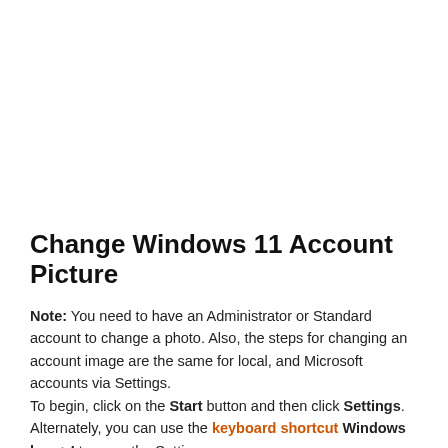Change Windows 11 Account Picture
Note: You need to have an Administrator or Standard account to change a photo. Also, the steps for changing an account image are the same for local, and Microsoft accounts via Settings.
To begin, click on the Start button and then click Settings. Alternately, you can use the keyboard shortcut Windows key + I to open the Settings app directly.